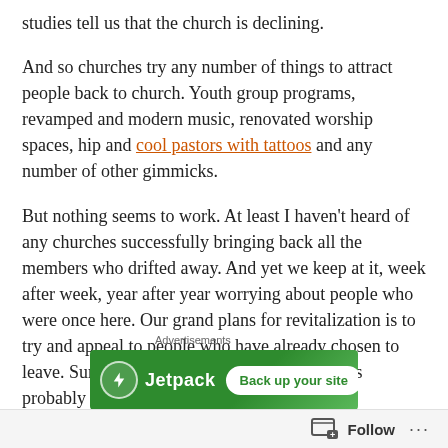studies tell us that the church is declining.
And so churches try any number of things to attract people back to church. Youth group programs, revamped and modern music, renovated worship spaces, hip and cool pastors with tattoos and any number of other gimmicks.
But nothing seems to work. At least I haven't heard of any churches successfully bringing back all the members who drifted away. And yet we keep at it, week after week, year after year worrying about people who were once here. Our grand plans for revitalization is to try and appeal to people who have already chosen to leave. Sure, it works once in a while, but this is probably not a strategy for success.
[Figure (other): Jetpack advertisement banner: green background with Jetpack logo (lightning bolt icon) and 'Back up your site' call-to-action button]
Follow  ···